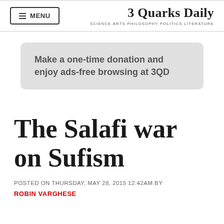MENU | 3 Quarks Daily — SCIENCE ARTS PHILOSOPHY POLITICS LITERATURE
Make a one-time donation and enjoy ads-free browsing at 3QD
The Salafi war on Sufism
POSTED ON THURSDAY, MAY 28, 2015 12:42AM BY
ROBIN VARGHESE